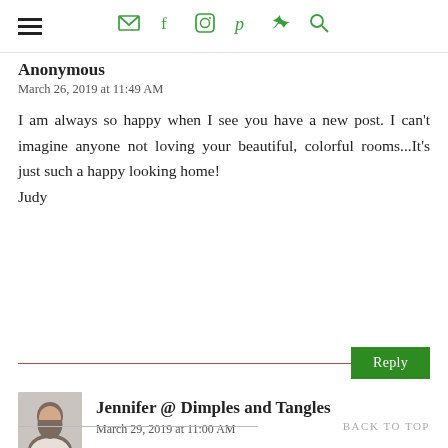navigation header with menu and social icons
Anonymous
March 26, 2019 at 11:49 AM
I am always so happy when I see you have a new post. I can't imagine anyone not loving your beautiful, colorful rooms...It's just such a happy looking home!
Judy
Reply
Jennifer @ Dimples and Tangles
March 29, 2019 at 11:00 AM
Thank you so much, Judy!
BACK TO TOP